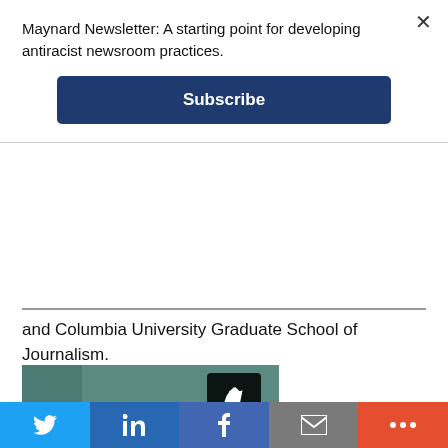Maynard Newsletter: A starting point for developing antiracist newsroom practices.
Subscribe
and Columbia University Graduate School of Journalism.
[Figure (photo): Portrait photograph of a young Asian woman with dark hair, wearing a white top, resting her chin on her hand, against a teal/dark background. A share icon button appears in the upper right of the photo.]
Twitter | LinkedIn | Facebook | Email | More social sharing options